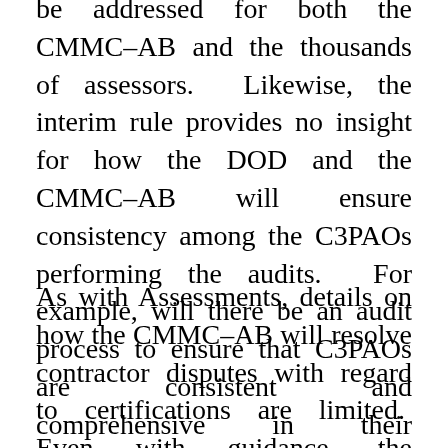be addressed for both the CMMC–AB and the thousands of assessors. Likewise, the interim rule provides no insight for how the DOD and the CMMC–AB will ensure consistency among the C3PAOs performing the audits. For example, will there be an audit process to ensure that C3PAOs are consistent and comprehensive in their assessments?
As with Assessments, details on how the CMMC–AB will resolve contractor disputes with regard to certifications are limited. Even with guidance, the CMMC–AB is a private 501(c)(3) corporation and it remains unclear what level of protection the CMMC–AB gains from its Memorandum of Understanding and expected no-cost contract with